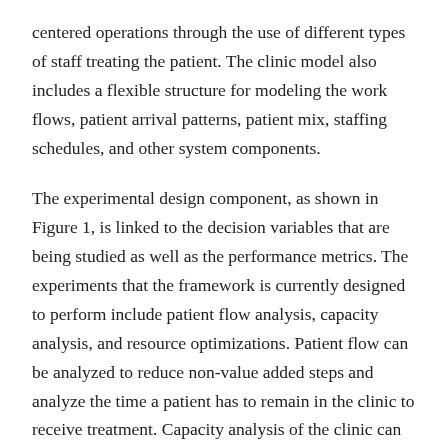centered operations through the use of different types of staff treating the patient. The clinic model also includes a flexible structure for modeling the work flows, patient arrival patterns, patient mix, staffing schedules, and other system components.
The experimental design component, as shown in Figure 1, is linked to the decision variables that are being studied as well as the performance metrics. The experiments that the framework is currently designed to perform include patient flow analysis, capacity analysis, and resource optimizations. Patient flow can be analyzed to reduce non-value added steps and analyze the time a patient has to remain in the clinic to receive treatment. Capacity analysis of the clinic can be used to identify the limiting factors of system